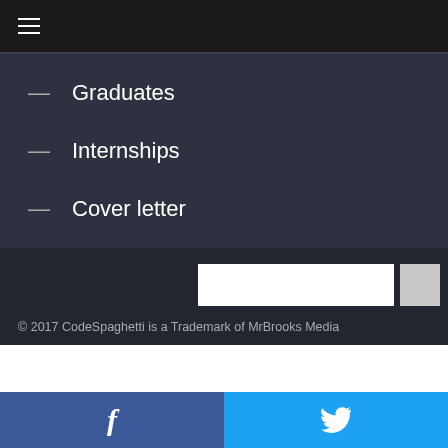≡
— Graduates
— Internships
— Cover letter
© 2017 CodeSpaghetti is a Trademark of MrBrooks Media
f  🐦